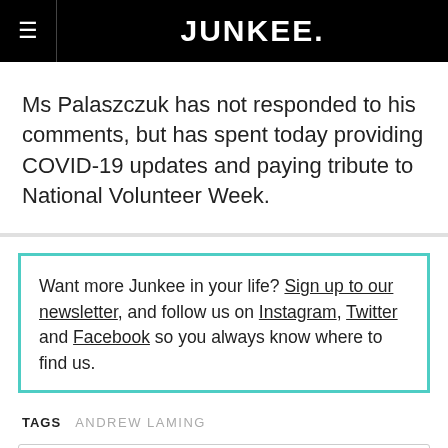JUNKEE.
Ms Palaszczuk has not responded to his comments, but has spent today providing COVID-19 updates and paying tribute to National Volunteer Week.
Want more Junkee in your life? Sign up to our newsletter, and follow us on Instagram, Twitter and Facebook so you always know where to find us.
TAGS  ANDREW LAMING
COMMENTS